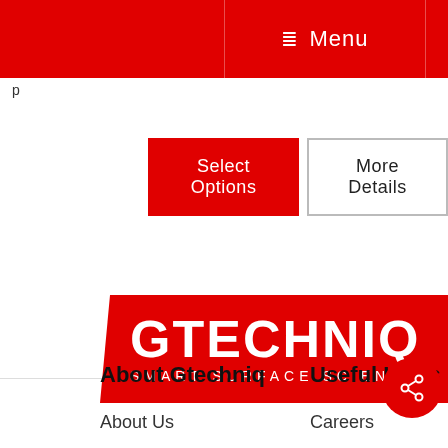Menu
p
Select Options
More Details
[Figure (logo): Gtechniq Smart Surface Science logo — white text on red parallelogram background]
About Gtechniq
Useful Links
About Us
Careers